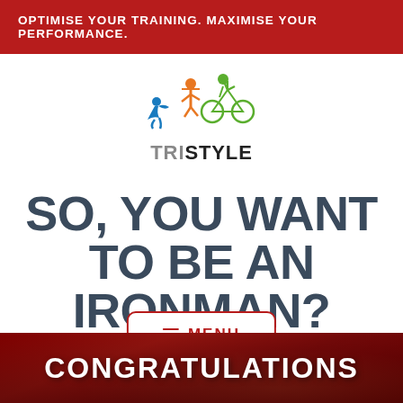OPTIMISE YOUR TRAINING. MAXIMISE YOUR PERFORMANCE.
[Figure (logo): TriStyle logo: colorful triathlon athlete icons (swimmer in blue, runner in orange, cyclist in green) above the wordmark TRISTYLE]
SO, YOU WANT TO BE AN IRONMAN?
☰ MENU
CONGRATULATIONS